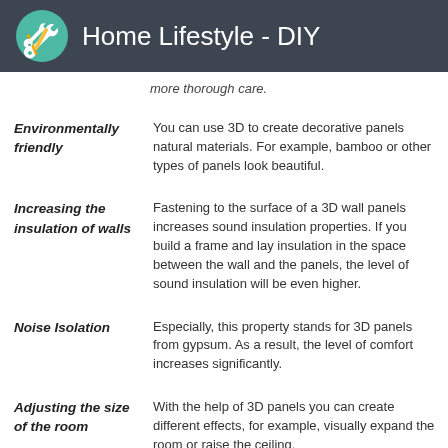Home Lifestyle - DIY
more thorough care.
Environmentally friendly — You can use 3D to create decorative panels natural materials. For example, bamboo or other types of panels look beautiful.
Increasing the insulation of walls — Fastening to the surface of a 3D wall panels increases sound insulation properties. If you build a frame and lay insulation in the space between the wall and the panels, the level of sound insulation will be even higher.
Noise Isolation — Especially, this property stands for 3D panels from gypsum. As a result, the level of comfort increases significantly.
Adjusting the size of the room — With the help of 3D panels you can create different effects, for example, visually expand the room or raise the ceiling.
The advantage of 3D panels is the ability to...